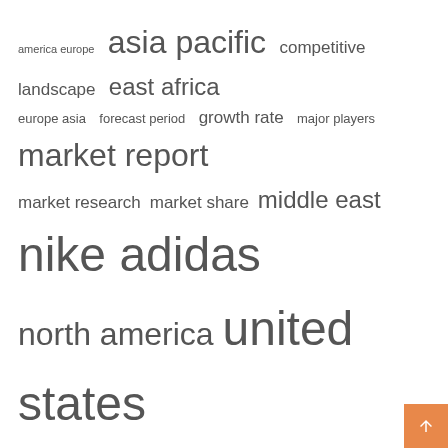[Figure (infographic): Tag cloud with terms of varying font sizes: america europe, asia pacific, competitive landscape, east africa, europe asia, forecast period, growth rate, major players, market report, market research, market share, middle east, nike adidas, north america, united states]
Recent Posts
All of your company expenses will be rewarded with cashback if you use one of these credit cards.
Is it better to consolidate or pay off debts separately?
Two major Japanese universities could merge
Rutherford County Schools
adidas T-MAC 1 “Royal Blue” GY2402 Release Date